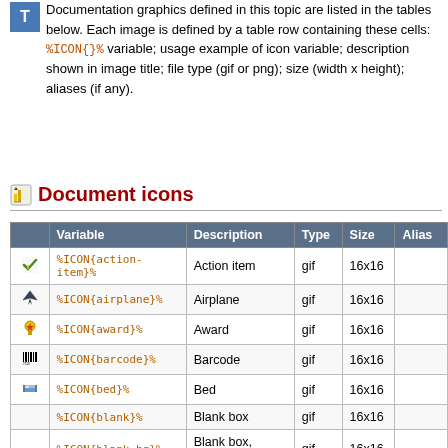Documentation graphics defined in this topic are listed in the tables below. Each image is defined by a table row containing these cells: %ICON{}% variable; usage example of icon variable; description shown in image title; file type (gif or png); size (width x height); aliases (if any).
Document icons
|  | Variable | Description | Type | Size | Alias |
| --- | --- | --- | --- | --- | --- |
| [checkmark icon] | %ICON{action-item}% | Action item | gif | 16x16 |  |
| [airplane icon] | %ICON{airplane}% | Airplane | gif | 16x16 |  |
| [award icon] | %ICON{award}% | Award | gif | 16x16 |  |
| [barcode icon] | %ICON{barcode}% | Barcode | gif | 16x16 |  |
| [bed icon] | %ICON{bed}% | Bed | gif | 16x16 |  |
|  | %ICON{blank}% | Blank box | gif | 16x16 |  |
|  | %ICON{blank-bg}% | Blank box, transparent | gif | 16x16 |  |
|  | %ICON{bomb}% | Bomb | gif | 16x16 |  |
|  | %ICON{book}% | Book | gif | 16x16 |  |